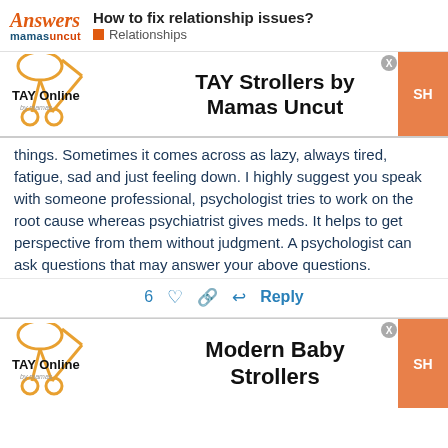Answers mamasuncut — How to fix relationship issues? Relationships
[Figure (advertisement): TAY Online by mamas stroller logo ad banner for TAY Strollers by Mamas Uncut with SHOP button]
things. Sometimes it comes across as lazy, always tired, fatigue, sad and just feeling down. I highly suggest you speak with someone professional, psychologist tries to work on the root cause whereas psychiatrist gives meds. It helps to get perspective from them without judgment. A psychologist can ask questions that may answer your above questions.
6  ♡  🔗  ↩ Reply
[Figure (advertisement): TAY Online by mamas stroller logo ad banner for Modern Baby Strollers with SHOP button]